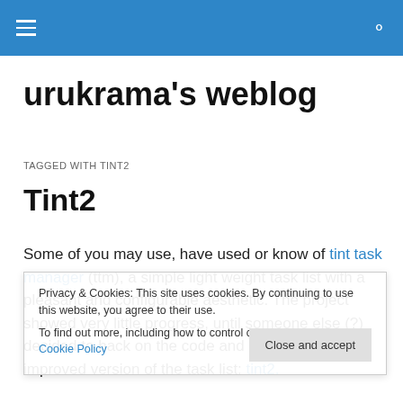urukrama's weblog — navigation header bar
urukrama's weblog
TAGGED WITH TINT2
Tint2
Some of you may use, have used or know of tint task manager (ttm), a simple light weight task list with a pleasant and configurable aesthetic. The project showed very little progress, until someone else (?) decided to hack on the code and come up with an improved version of the task list: tint2.
Privacy & Cookies: This site uses cookies. By continuing to use this website, you agree to their use. To find out more, including how to control cookies, see here: Cookie Policy Close and accept